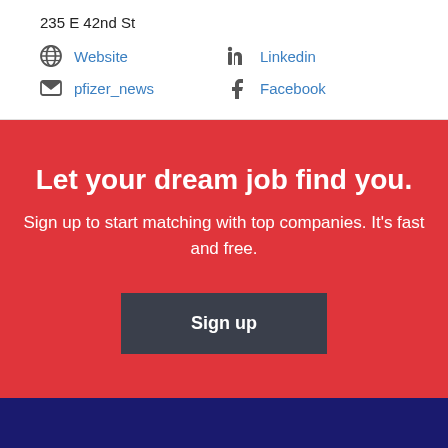235 E 42nd St
Website
Linkedin
pfizer_news
Facebook
Let your dream job find you.
Sign up to start matching with top companies. It’s fast and free.
Sign up